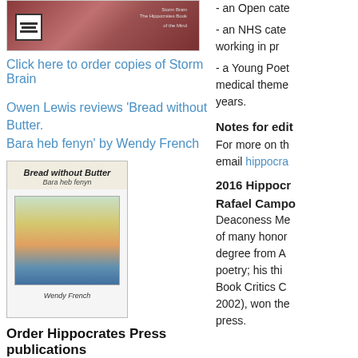[Figure (photo): Book cover image for Storm Brain (reddish/maroon colored cover with QR code on left)]
Click here to order copies of Storm Brain
Owen Lewis reviews 'Bread without Butter. Bara heb fenyn' by Wendy French
[Figure (photo): Book cover: 'Bread without Butter / Bara heb fenyn' by Wendy French, showing an abstract colorful painting in the center]
Order Hippocrates Press publications
Hippocrates Prize Anthologies
Storm Brain: The Hippocrates Book of the
- an Open cate
- an NHS cate working in pr
- a Young Poet medical theme years.
Notes for edit
For more on th email hippocra
2016 Hippocr
Rafael Campo
Deaconess Me of many honor degree from A poetry; his thi Book Critics C 2002), won the press.